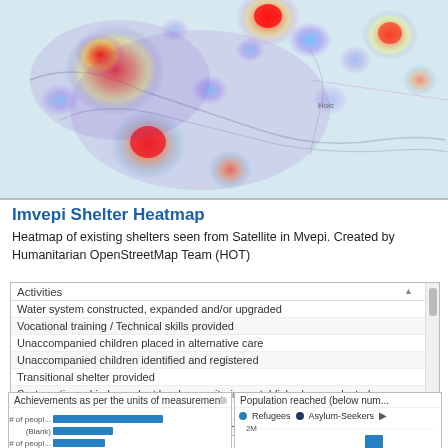[Figure (map): Heatmap showing shelter density in Imvepi/Mvepi region. Hot spots shown in red/orange/yellow indicating high shelter concentrations, cooler areas in blue/purple. Map shows geographic boundaries of the area.]
Imvepi Shelter Heatmap
Heatmap of existing shelters seen from Satellite in Mvepi. Created by Humanitarian OpenStreetMap Team (HOT)
| Activities |
| --- |
| Water system constructed, expanded and/or upgraded |
| Vocational training / Technical skills provided |
| Unaccompanied children placed in alternative care |
| Unaccompanied children identified and registered |
| Transitional shelter provided |
| Systematic and independent border monitoring established or conducted |
| Support to voluntary repatriation |
| Support to persons of concern with specific needs provided |
| Specific services for persons of concern with psychosocial needs provided |
| Soil conservation structures built and installed |
| Shelter maintenance |
[Figure (bar-chart): Achievements as per the units of measurement]
[Figure (bar-chart): Population reached (below num...]